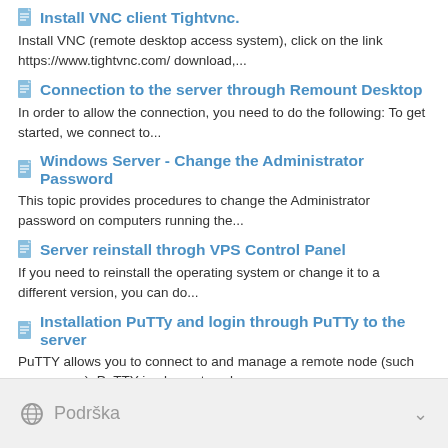Install VNC client Tightvnc.
Install VNC (remote desktop access system), click on the link https://www.tightvnc.com/ download,...
Connection to the server through Remount Desktop
In order to allow the connection, you need to do the following: To get started, we connect to...
Windows Server - Change the Administrator Password
This topic provides procedures to change the Administrator password on computers running the...
Server reinstall throgh VPS Control Panel
If you need to reinstall the operating system or change it to a different version, you can do...
Installation PuTTy and login through PuTTy to the server
PuTTY allows you to connect to and manage a remote node (such as a server). PuTTY implements only...
Podrška